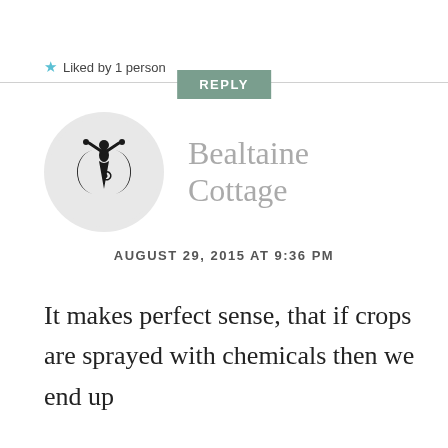Liked by 1 person
REPLY
[Figure (logo): Circular avatar with black triple moon goddess symbol on light background]
Bealtaine Cottage
AUGUST 29, 2015 AT 9:36 PM
It makes perfect sense, that if crops are sprayed with chemicals then we end up